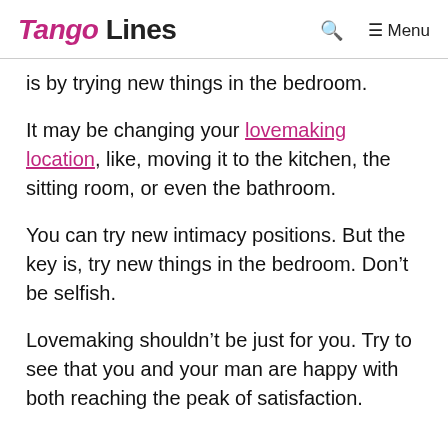Tango Lines | Search | Menu
is by trying new things in the bedroom.
It may be changing your lovemaking location, like, moving it to the kitchen, the sitting room, or even the bathroom.
You can try new intimacy positions. But the key is, try new things in the bedroom. Don’t be selfish.
Lovemaking shouldn’t be just for you. Try to see that you and your man are happy with both reaching the peak of satisfaction.